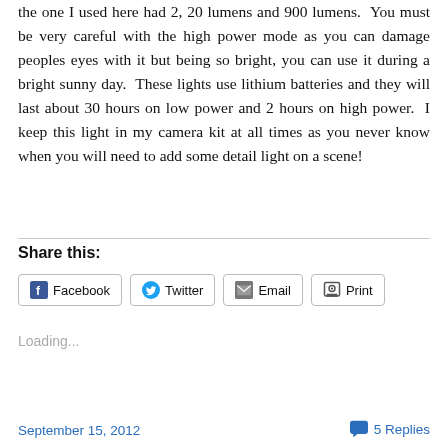the one I used here had 2, 20 lumens and 900 lumens.  You must be very careful with the high power mode as you can damage peoples eyes with it but being so bright, you can use it during a bright sunny day.  These lights use lithium batteries and they will last about 30 hours on low power and 2 hours on high power.  I keep this light in my camera kit at all times as you never know when you will need to add some detail light on a scene!
Share this:
Loading...
September 15, 2012
5 Replies